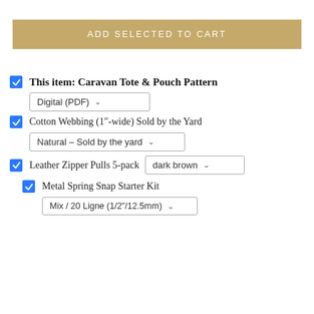ADD SELECTED TO CART
This item: Caravan Tote & Pouch Pattern — Digital (PDF)
Cotton Webbing (1"-wide) Sold by the Yard — Natural - Sold by the yard
Leather Zipper Pulls 5-pack — dark brown
Metal Spring Snap Starter Kit — Mix / 20 Ligne (1/2"/12.5mm)